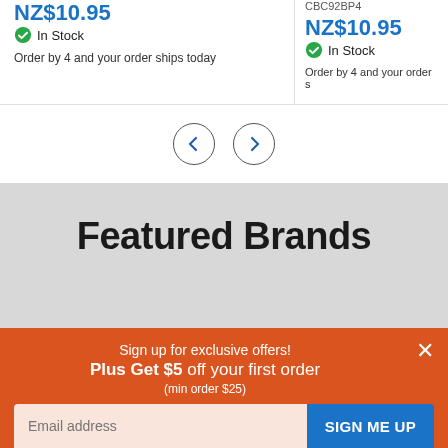NZ$10.95
In Stock
Order by 4 and your order ships today
CBC92BP4
NZ$10.95
In Stock
Order by 4 and your order s
Featured Brands
Sign up for exclusive offers! Plus Get $5 off your first order (min order $25)
Email address
SIGN ME UP